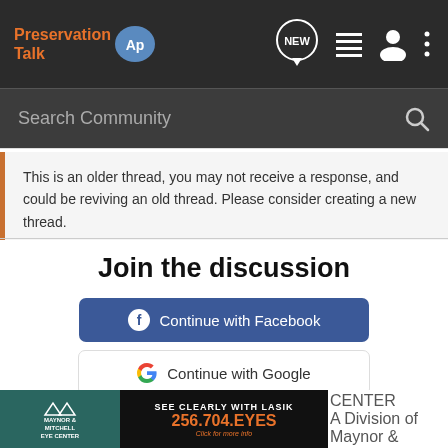Preservation Talk
Search Community
This is an older thread, you may not receive a response, and could be reviving an old thread. Please consider creating a new thread.
Join the discussion
Continue with Facebook
Continue with Google
or sign up with email
[Figure (advertisement): Maynor & Mitchell Eye Center / Huntsville Laser Center ad: SEE CLEARLY WITH LASIK 256.704.EYES Click for more info]